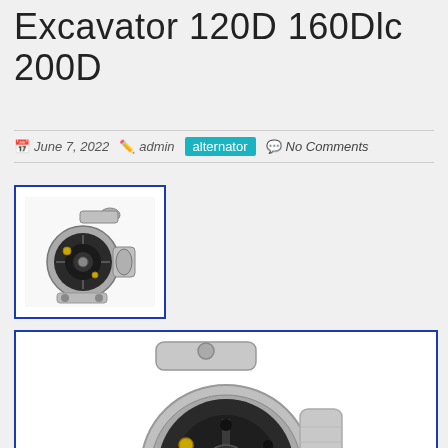Excavator 120D 160Dlc 200D
June 7, 2022   admin   alternator   No Comments
[Figure (photo): Thumbnail photo of an automotive/excavator alternator, small view with blue border]
[Figure (photo): Large photo of an automotive/excavator alternator showing front face with pulley, mounting bracket, and rear terminals, blue border]